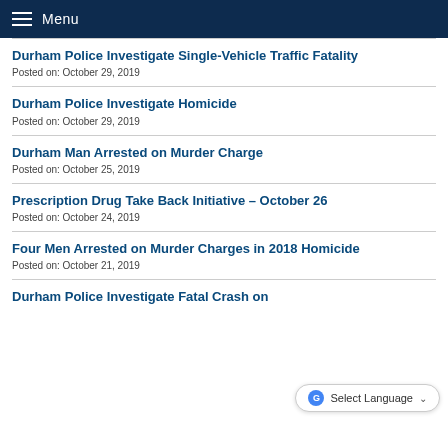Menu
Durham Police Investigate Single-Vehicle Traffic Fatality
Posted on: October 29, 2019
Durham Police Investigate Homicide
Posted on: October 29, 2019
Durham Man Arrested on Murder Charge
Posted on: October 25, 2019
Prescription Drug Take Back Initiative – October 26
Posted on: October 24, 2019
Four Men Arrested on Murder Charges in 2018 Homicide
Posted on: October 21, 2019
Durham Police Investigate Fatal Crash on